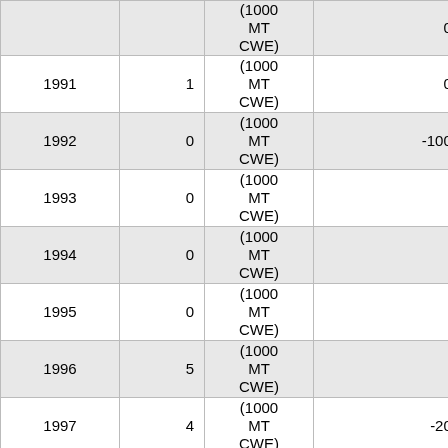| Year | Value | Unit | % Change |
| --- | --- | --- | --- |
| (partial top row) | 1 | (1000 MT CWE) | 0.00% |
| 1991 | 1 | (1000 MT CWE) | 0.00% |
| 1992 | 0 | (1000 MT CWE) | -100.00% |
| 1993 | 0 | (1000 MT CWE) | NA |
| 1994 | 0 | (1000 MT CWE) | NA |
| 1995 | 0 | (1000 MT CWE) | NA |
| 1996 | 5 | (1000 MT CWE) | NA |
| 1997 | 4 | (1000 MT CWE) | -20.00% |
| 1998 | 1 | (1000 MT CWE) | -75.00% |